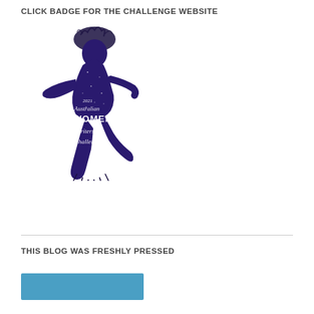CLICK BADGE FOR THE CHALLENGE WEBSITE
[Figure (illustration): 2021 Australian Women Writers Challenge badge — silhouette of a woman dancer against a dark navy starry background with stylized script text reading '2021 Australian Women Writers Challenge']
THIS BLOG WAS FRESHLY PRESSED
[Figure (photo): Blue horizontal bar/image strip at the bottom of the page]